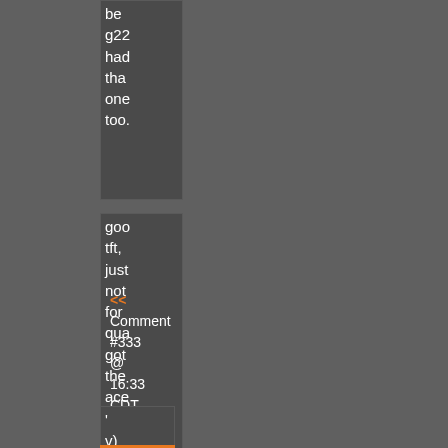be
g22
had
tha
one
too.
goo
tft,
just
not
for
qua
got
the
ace
gd2
now
<< Comment #333 @ 16:33 CDT, 26 April 2011 >>
'
v)